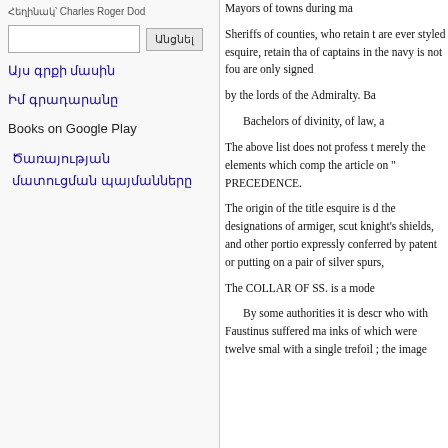Հեղինակ՝ Charles Roger Dod
Այս գրքի մասին
Իմ գրադարանը
Books on Google Play
Ծառայության մատուցման պայմանները
Mayors of towns during ma Sheriffs of counties, who retain t are ever styled esquire, retain tha of captains in the navy is not fou are only signed by the lords of the Admiralty. Ba Bachelors of divinity, of law, a The above list does not profess t merely the elements which comp the article on " PRECEDENCE. The origin of the title esquire is d the designations of armiger, scut knight's shields, and other portio expressly conferred by patent or putting on a pair of silver spurs, The COLLAR OF SS. is a mode By some authorities it is descr who with Faustinus suffered ma inks of which were twelve smal with a single trefoil ; the image